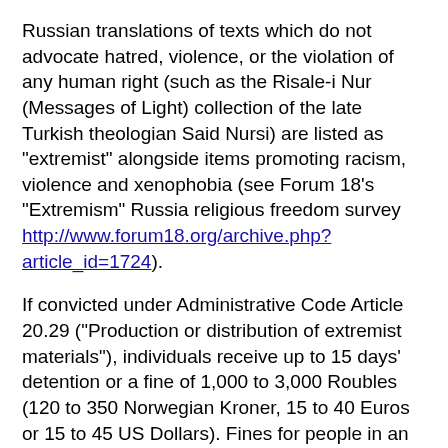Russian translations of texts which do not advocate hatred, violence, or the violation of any human right (such as the Risale-i Nur (Messages of Light) collection of the late Turkish theologian Said Nursi) are listed as "extremist" alongside items promoting racism, violence and xenophobia (see Forum 18's "Extremism" Russia religious freedom survey http://www.forum18.org/archive.php?article_id=1724).
If convicted under Administrative Code Article 20.29 ("Production or distribution of extremist materials"), individuals receive up to 15 days' detention or a fine of 1,000 to 3,000 Roubles (120 to 350 Norwegian Kroner, 15 to 40 Euros or 15 to 45 US Dollars). Fines for people in an official capacity (such as individual entrepreneurs) range from 2,000 to 5,000 Roubles.
Organisations (commercial concerns, religious associations) may be fined 50,000 to 100,000 Roubles (between nine and 18 times the monthly minimum wage as of 1 January 2014). They may also be prohibited from operating for a period of up to 90 days. Court